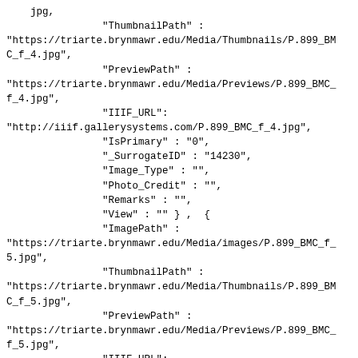jpg,
                    "ThumbnailPath" :
"https://triarte.brynmawr.edu/Media/Thumbnails/P.899_BMC_f_4.jpg",
                    "PreviewPath" :
"https://triarte.brynmawr.edu/Media/Previews/P.899_BMC_f_4.jpg",
                    "IIIF_URL":
"http://iiif.gallerysystems.com/P.899_BMC_f_4.jpg",
                    "IsPrimary" : "0",
                    "_SurrogateID" : "14230",
                    "Image_Type" : "",
                    "Photo_Credit" : "",
                    "Remarks" : "",
                    "View" : "" } ,  {
                    "ImagePath" :
"https://triarte.brynmawr.edu/Media/images/P.899_BMC_f_5.jpg",
                    "ThumbnailPath" :
"https://triarte.brynmawr.edu/Media/Thumbnails/P.899_BMC_f_5.jpg",
                    "PreviewPath" :
"https://triarte.brynmawr.edu/Media/Previews/P.899_BMC_f_5.jpg",
                    "IIIF_URL":
"http://iiif.gallerysystems.com/P.899_BMC_f_5.jpg",
                    "IsPrimary" : "0",
                    "_SurrogateID" : "14231",
                    "Image_Type" : "",
                    "Photo_Credit" : "",
                    "Remarks" : "",